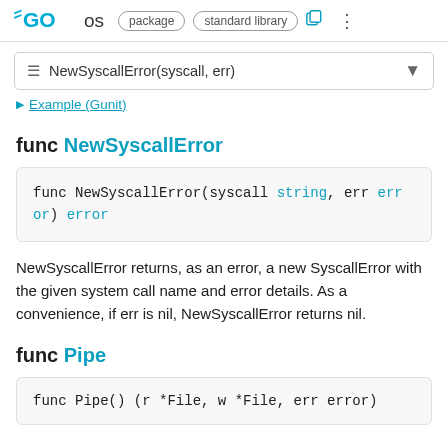GO os package standard library
NewSyscallError(syscall, err)
Example (Gunit)
func NewSyscallError
func NewSyscallError(syscall string, err error) error
NewSyscallError returns, as an error, a new SyscallError with the given system call name and error details. As a convenience, if err is nil, NewSyscallError returns nil.
func Pipe
func Pipe() (r *File, w *File, err error)